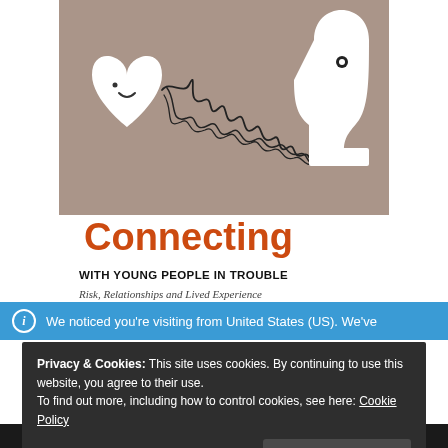[Figure (illustration): Book cover illustration showing a white heart shape on the left (with a small smile) and a white human head silhouette on the right (with a map-pin dot), connected by tangled black scribble lines, on a warm taupe/brown background.]
Connecting
WITH YOUNG PEOPLE IN TROUBLE
Risk, Relationships and Lived Experience
We noticed you're visiting from United States (US). We've
Privacy & Cookies: This site uses cookies. By continuing to use this website, you agree to their use.
To find out more, including how to control cookies, see here: Cookie Policy
Close and accept